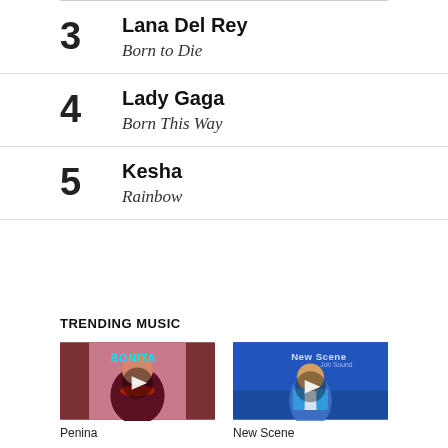3 Lana Del Rey — Born to Die
4 Lady Gaga — Born This Way
5 Kesha — Rainbow
TRENDING MUSIC
[Figure (photo): Video thumbnail for Penina — colorful music video still with play button overlay]
Penina
[Figure (photo): Video thumbnail for New Scene — blue-toned music video still with play button overlay]
New Scene